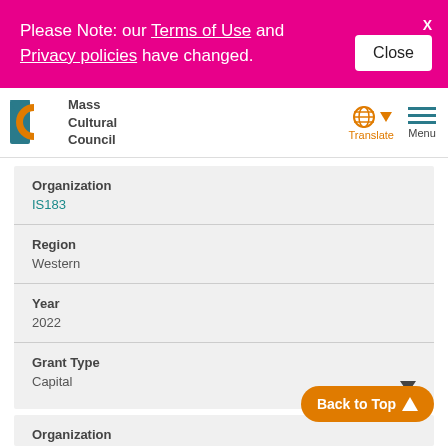Please Note: our Terms of Use and Privacy policies have changed.
[Figure (logo): Mass Cultural Council logo with MC monogram in teal and orange]
Organization
IS183
Region
Western
Year
2022
Grant Type
Capital
Organization